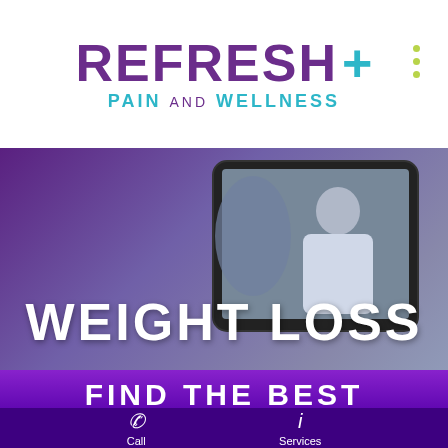[Figure (logo): REFRESH+ PAIN AND WELLNESS logo with purple text and teal plus sign and subtitle]
[Figure (photo): Hero image showing a tablet with a doctor on screen, overlaid with WEIGHT LOSS text, dark purple tinted background]
WEIGHT LOSS
FIND THE BEST
Call
Services